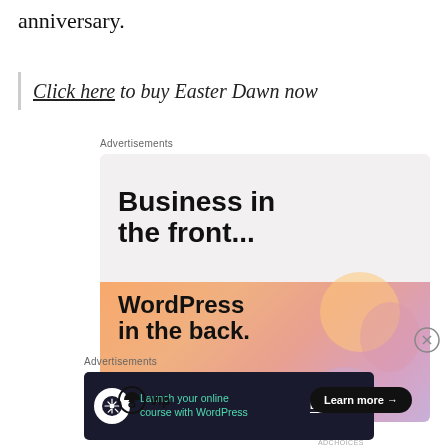anniversary.
Click here to buy Easter Dawn now
Advertisements
[Figure (other): WordPress VIP advertisement: 'Business in the front... WordPress in the back.' with a Learn more button and gradient peach/pink background]
Advertisements
[Figure (other): Dark advertisement: 'Launch your online course with WordPress' with Learn More button on dark background with WordPress icon]